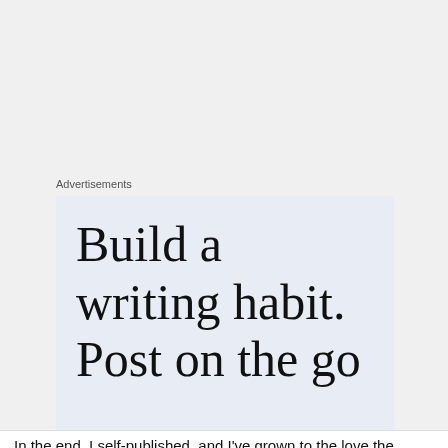Advertisements
[Figure (illustration): Advertisement banner with text 'Build a writing habit. Post on the go' on a light blue/grey background]
yvettemcalleiro
November 5, 2017 at 9:41 pm
Privacy & Cookies: This site uses cookies. By continuing to use this website, you agree to their use.
To find out more, including how to control cookies, see here: Cookie Policy
Close and accept
In the end, I self-published, and I've grown to the love the